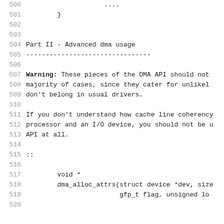500     ....
501         }
502
503
504 Part II - Advanced dma usage
505 --------------------------------
506
507 Warning: These pieces of the DMA API should not
508 majority of cases, since they cater for unlikely
509 don't belong in usual drivers.
510
511 If you don't understand how cache line coherency
512 processor and an I/O device, you should not be u
513 API at all.
514
515 ::
516
517         void *
518         dma_alloc_attrs(struct device *dev, size
519                         gfp_t flag, unsigned lo
520